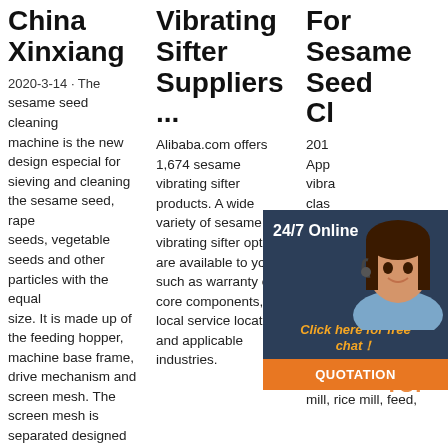China Xinxiang
2020-3-14 · The sesame seed cleaning machine is the new design especial for sieving and cleaning the sesame seed, rape seeds, vegetable seeds and other particles with the equal size. It is made up of the feeding hopper, machine base frame, drive mechanism and screen mesh. The screen mesh is separated designed
Vibrating Sifter Suppliers ...
Alibaba.com offers 1,674 sesame vibrating sifter products. A wide variety of sesame vibrating sifter options are available to you, such as warranty of core components, local service location, and applicable industries.
For Sesame Seed Cl...
201... App... vibra... clas... see... . TQ... clea... for pre-cleaning and cleaning of grains and seeds for grain depot and seed company, and raw grains for flour mill, rice mill, feed,
[Figure (infographic): Chat widget overlay showing '24/7 Online' header with woman wearing headset, 'Click here for free chat!' text, and orange QUOTATION button]